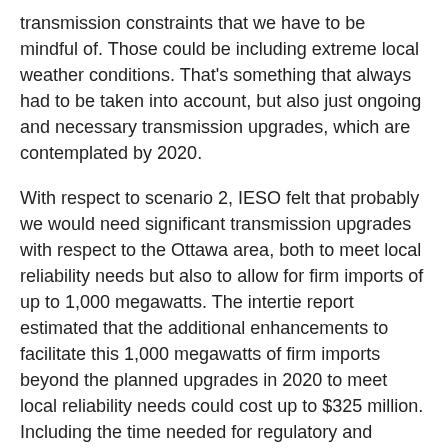transmission constraints that we have to be mindful of. Those could be including extreme local weather conditions. That's something that always had to be taken into account, but also just ongoing and necessary transmission upgrades, which are contemplated by 2020.
With respect to scenario 2, IESO felt that probably we would need significant transmission upgrades with respect to the Ottawa area, both to meet local reliability needs but also to allow for firm imports of up to 1,000 megawatts. The intertie report estimated that the additional enhancements to facilitate this 1,000 megawatts of firm imports beyond the planned upgrades in 2020 to meet local reliability needs could cost up to $325 million. Including the time needed for regulatory and environmental approvals, they were imagining that this would take three to five years to complete.
With respect to scenario 3, to support firm imports of up to 1,800 megawatts, further transmission enhancements